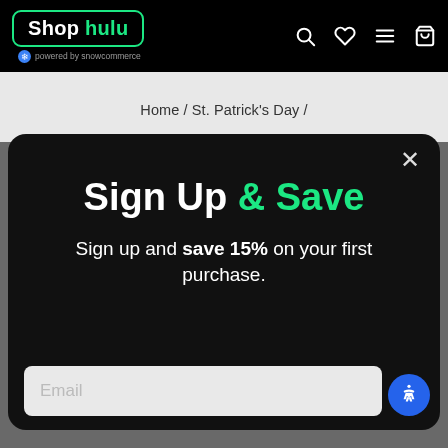[Figure (screenshot): Shop Hulu website navigation bar with logo, search, wishlist, menu, and cart icons on black background]
powered by snowcommerce
Home / St. Patrick's Day /
Sign Up & Save
Sign up and save 15% on your first purchase.
Email